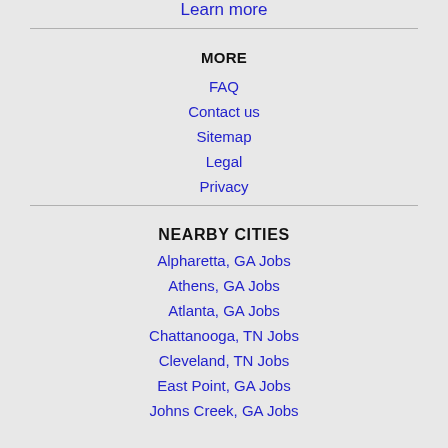Learn more
MORE
FAQ
Contact us
Sitemap
Legal
Privacy
NEARBY CITIES
Alpharetta, GA Jobs
Athens, GA Jobs
Atlanta, GA Jobs
Chattanooga, TN Jobs
Cleveland, TN Jobs
East Point, GA Jobs
Johns Creek, GA Jobs